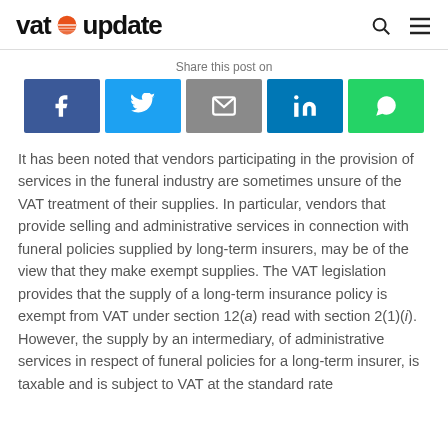vat update
Share this post on
[Figure (other): Social media share buttons: Facebook, Twitter, Email, LinkedIn, WhatsApp]
It has been noted that vendors participating in the provision of services in the funeral industry are sometimes unsure of the VAT treatment of their supplies. In particular, vendors that provide selling and administrative services in connection with funeral policies supplied by long-term insurers, may be of the view that they make exempt supplies. The VAT legislation provides that the supply of a long-term insurance policy is exempt from VAT under section 12(a) read with section 2(1)(i). However, the supply by an intermediary, of administrative services in respect of funeral policies for a long-term insurer, is taxable and is subject to VAT at the standard rate